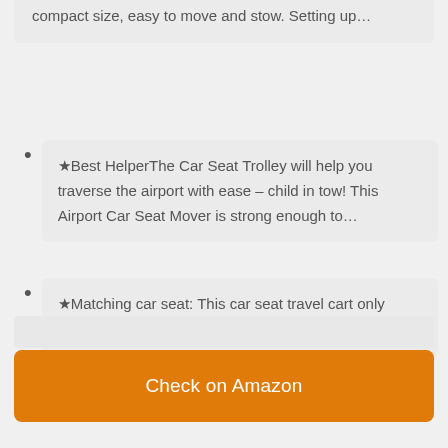compact size, easy to move and stow. Setting up…
★Best Helper︎The Car Seat Trolley will help you traverse the airport with ease – child in tow! This Airport Car Seat Mover is strong enough to…
★Matching car seat: This car seat travel cart only suitable for with ISOFIX interface on the seat.
Check on Amazon